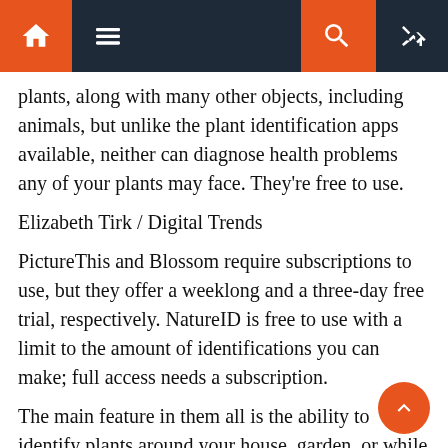Navigation bar with home, menu, search, and shuffle icons
plants, along with many other objects, including animals, but unlike the plant identification apps available, neither can diagnose health problems any of your plants may face. They're free to use.
Elizabeth Tirk / Digital Trends
PictureThis and Blossom require subscriptions to use, but they offer a weeklong and a three-day free trial, respectively. NatureID is free to use with a limit to the amount of identifications you can make; full access needs a subscription.
The main feature in them all is the ability to identify plants around your house, garden, or while on a walk. A bonus here is the ability to tell you if any plants you encounter are toxic for you or your pets. Personally, having that peace of mind in my pocket at any moment is, well, peaceful. Another feature